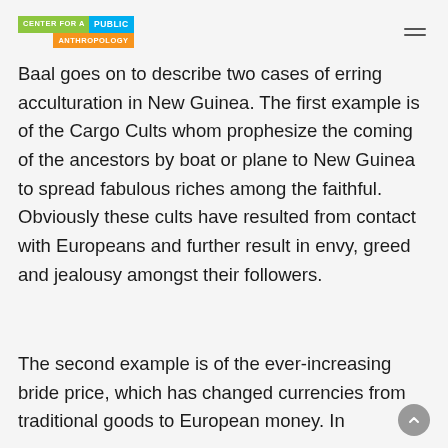CENTER FOR A PUBLIC ANTHROPOLOGY
Baal goes on to describe two cases of erring acculturation in New Guinea. The first example is of the Cargo Cults whom prophesize the coming of the ancestors by boat or plane to New Guinea to spread fabulous riches among the faithful. Obviously these cults have resulted from contact with Europeans and further result in envy, greed and jealousy amongst their followers.
The second example is of the ever-increasing bride price, which has changed currencies from traditional goods to European money. In